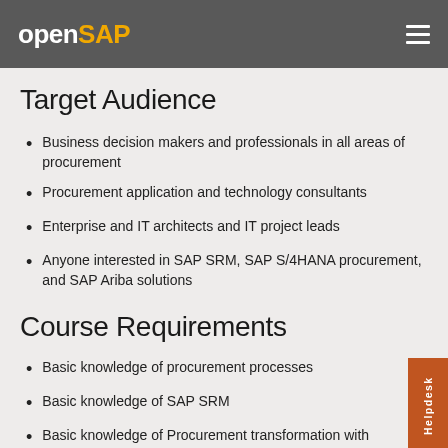openSAP
Target Audience
Business decision makers and professionals in all areas of procurement
Procurement application and technology consultants
Enterprise and IT architects and IT project leads
Anyone interested in SAP SRM, SAP S/4HANA procurement, and SAP Ariba solutions
Course Requirements
Basic knowledge of procurement processes
Basic knowledge of SAP SRM
Basic knowledge of Procurement transformation with